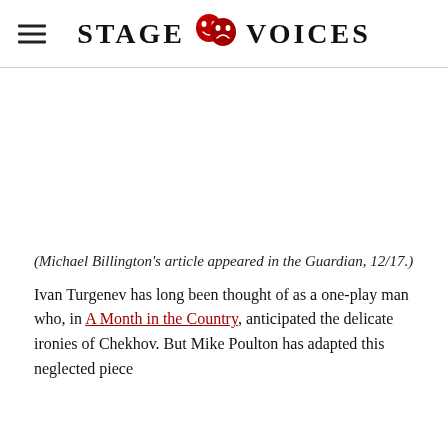STAGE VOICES
[Figure (photo): Blank white image placeholder area below the header]
(Michael Billington's article appeared in the Guardian, 12/17.)
Ivan Turgenev has long been thought of as a one-play man who, in A Month in the Country, anticipated the delicate ironies of Chekhov. But Mike Poulton has adapted this neglected piece from 1848 and after reading about it in Chekhov (1888) and...